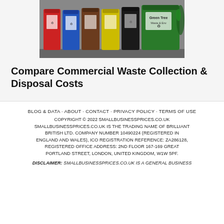[Figure (photo): Row of colorful commercial waste bins including red, blue, brown, yellow, black, and green wheelie bins lined up against a wall]
Compare Commercial Waste Collection & Disposal Costs
BLOG & DATA · ABOUT · CONTACT · PRIVACY POLICY · TERMS OF USE
COPYRIGHT © 2022 SMALLBUSINESSPRICES.CO.UK
SMALLBUSINESSPRICES.CO.UK IS THE TRADING NAME OF BRILLIANT BRITISH LTD. COMPANY NUMBER 10490224 (REGISTERED IN ENGLAND AND WALES), ICO REGISTRATION REFERENCE: ZA286128, REGISTERED OFFICE ADDRESS: 2ND FLOOR 167-169 GREAT PORTLAND STREET, LONDON, UNITED KINGDOM, W1W 5PF.
DISCLAIMER: SMALLBUSINESSPRICES.CO.UK IS A GENERAL BUSINESS